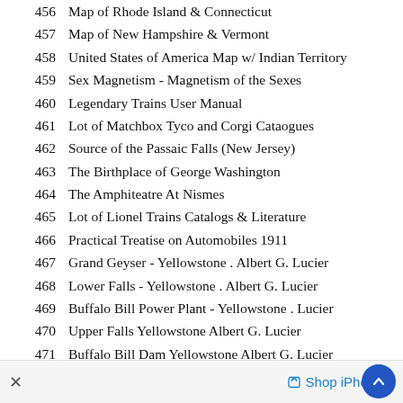456  Map of Rhode Island & Connecticut
457  Map of New Hampshire & Vermont
458  United States of America Map w/ Indian Territory
459  Sex Magnetism - Magnetism of the Sexes
460  Legendary Trains User Manual
461  Lot of Matchbox Tyco and Corgi Cataogues
462  Source of the Passaic Falls (New Jersey)
463  The Birthplace of George Washington
464  The Amphiteatre At Nismes
465  Lot of Lionel Trains Catalogs & Literature
466  Practical Treatise on Automobiles 1911
467  Grand Geyser - Yellowstone . Albert G. Lucier
468  Lower Falls - Yellowstone . Albert G. Lucier
469  Buffalo Bill Power Plant - Yellowstone . Lucier
470  Upper Falls Yellowstone Albert G. Lucier
471  Buffalo Bill Dam Yellowstone Albert G. Lucier
472  Shoshone Canyon Yellowstone Albert G. Lucier
473  Kepler Cascades Yellowstone Albert G. Lucier
× Shop iPhone 6 ∧